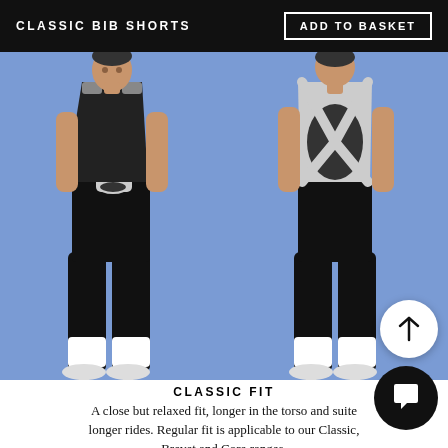CLASSIC BIB SHORTS
ADD TO BASKET
[Figure (photo): Front view of a male model wearing black cycling bib shorts with white bib straps on a blue background, also wearing white cycling socks and shoes.]
[Figure (photo): Back view of the same male model wearing black cycling bib shorts with white/grey bib straps and oval mesh panel on a blue background, also wearing white cycling socks and shoes.]
CLASSIC FIT
A close but relaxed fit, longer in the torso and suited longer rides. Regular fit is applicable to our Classic, Brevet and Core ranges.